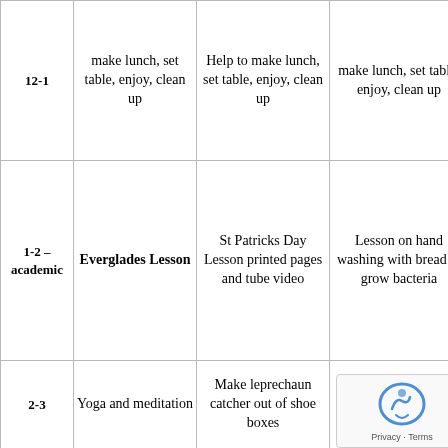| Time | Column2 | Column3 | Column4 | Column5 |
| --- | --- | --- | --- | --- |
| 12-1 | make lunch, set table, enjoy, clean up | Help to make lunch, set table, enjoy, clean up | make lunch, set table, enjoy, clean up |  |
| 1-2 – academic | Everglades Lesson | St Patricks Day Lesson printed pages and tube video | Lesson on hand washing with bread to grow bacteria |  |
| 2-3 | Yoga and meditation | Make leprechaun catcher out of shoe boxes | Yoga and meditation |  |